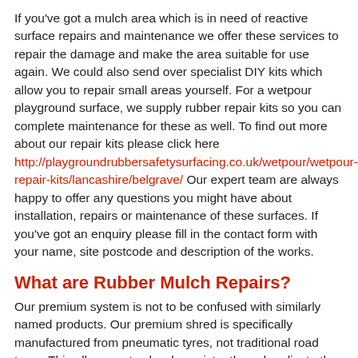If you've got a mulch area which is in need of reactive surface repairs and maintenance we offer these services to repair the damage and make the area suitable for use again. We could also send over specialist DIY kits which allow you to repair small areas yourself. For a wetpour playground surface, we supply rubber repair kits so you can complete maintenance for these as well. To find out more about our repair kits please click here http://playgroundrubbersafetysurfacing.co.uk/wetpour/wetpour-repair-kits/lancashire/belgrave/ Our expert team are always happy to offer any questions you might have about installation, repairs or maintenance of these surfaces. If you've got an enquiry please fill in the contact form with your name, site postcode and description of the works.
What are Rubber Mulch Repairs?
Our premium system is not to be confused with similarly named products. Our premium shred is specifically manufactured from pneumatic tyres, not traditional road tyres. This allows us to shred consistently and replicate the same product specification time after time. We then blend together various sized shred and a special mix of different sized shred together, which helps gives strength to the